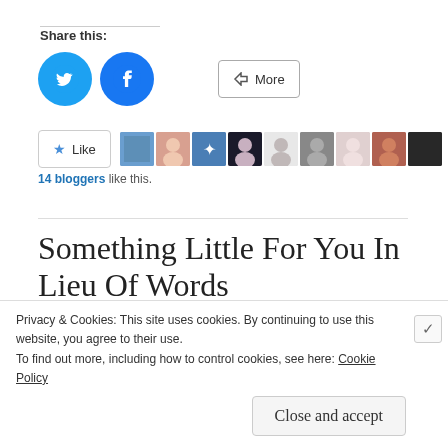Share this:
[Figure (screenshot): Twitter and Facebook circular share buttons plus a 'More' button with share icon]
[Figure (screenshot): WordPress Like button with star icon followed by 9 blogger avatar thumbnails]
14 bloggers like this.
Something Little For You In Lieu Of Words
Privacy & Cookies: This site uses cookies. By continuing to use this website, you agree to their use.
To find out more, including how to control cookies, see here: Cookie Policy
Close and accept